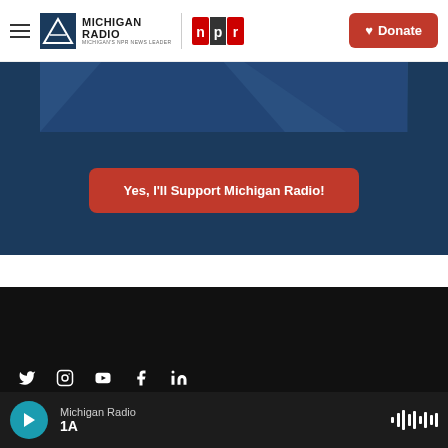Michigan Radio | Michigan's NPR News Leader — Donate
[Figure (screenshot): Dark blue banner image section showing partial image at top]
Yes, I'll Support Michigan Radio!
[Figure (logo): Michigan Radio logo with Michigan's NPR News Leader tagline in white on black footer]
Stay Connected
[Figure (infographic): Social media icons: Twitter, Instagram, YouTube, Facebook, LinkedIn]
Michigan Radio | 1A — audio player bar with play button and waveform